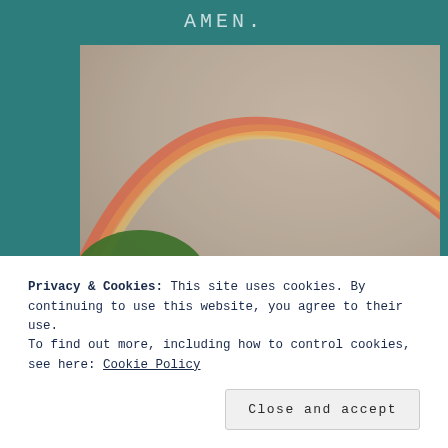AMEN.
[Figure (photo): A rainbow arcing across a hazy pink-grey sky, with green tree foliage visible in the lower left corner.]
Privacy & Cookies: This site uses cookies. By continuing to use this website, you agree to their use.
To find out more, including how to control cookies, see here: Cookie Policy
Close and accept